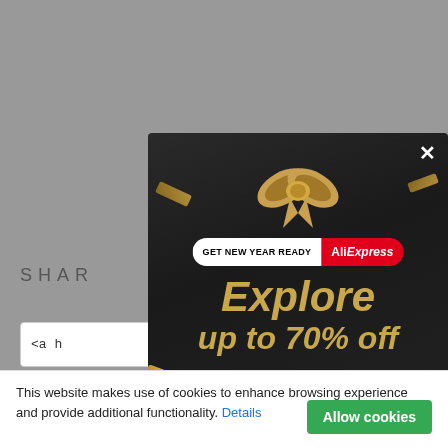[Figure (screenshot): Screenshot of a webpage with a modal popup advertisement from AliExpress. The background page shows dimmed gray content with 'SHAR' text visible and a code/link text box. A dark-themed modal popup sits centered-right showing a New Year promotion: 'GET NEW YEAR READY' pill with AliExpress branding, a gold gift bow graphic with confetti ribbons, and bold gold italic text 'Explore up to 70% off'. A white X close button is in the top-right of the modal. At the bottom is a white cookie consent bar reading 'This website makes use of cookies to enhance browsing experience and provide additional functionality. Details' with a green 'Allow cookies' button.]
This website makes use of cookies to enhance browsing experience and provide additional functionality. Details
Allow cookies